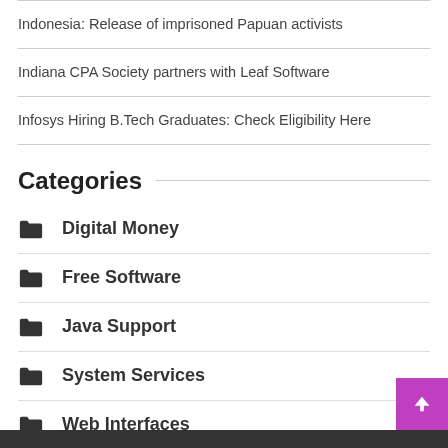Indonesia: Release of imprisoned Papuan activists
Indiana CPA Society partners with Leaf Software
Infosys Hiring B.Tech Graduates: Check Eligibility Here
Categories
Digital Money
Free Software
Java Support
System Services
Web Interfaces